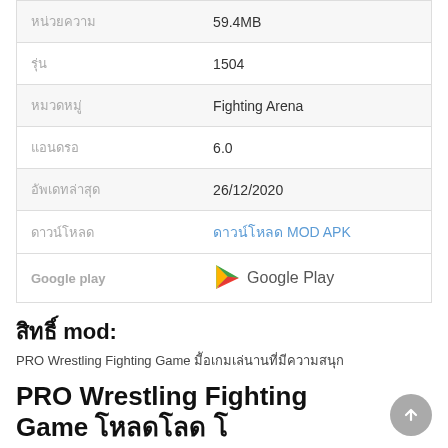| Label | Value |
| --- | --- |
| [Thai text] | 59.4MB |
| [Thai text] | 1504 |
| [Thai text] | Fighting Arena |
| [Thai text] | 6.0 |
| [Thai text] | 26/12/2020 |
| [Thai text] | [Thai text] MOD APK |
| Google play | Google Play |
[Thai text] mod:
PRO Wrestling Fighting Game [Thai text]
PRO Wrestling Fighting Game [Thai text]